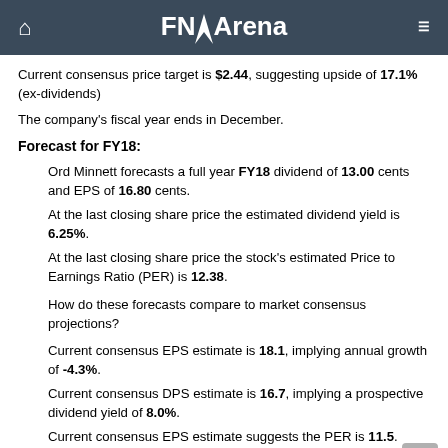FNArena
Current consensus price target is $2.44, suggesting upside of 17.1% (ex-dividends)
The company's fiscal year ends in December.
Forecast for FY18:
Ord Minnett forecasts a full year FY18 dividend of 13.00 cents and EPS of 16.80 cents.
At the last closing share price the estimated dividend yield is 6.25%.
At the last closing share price the stock's estimated Price to Earnings Ratio (PER) is 12.38.
How do these forecasts compare to market consensus projections?
Current consensus EPS estimate is 18.1, implying annual growth of -4.3%.
Current consensus DPS estimate is 16.7, implying a prospective dividend yield of 8.0%.
Current consensus EPS estimate suggests the PER is 11.5.
Forecast for FY19: